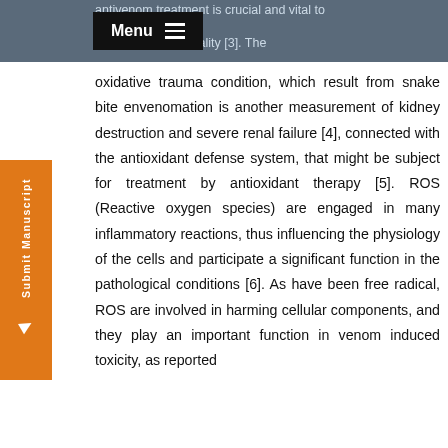antivenom treatment is crucial and vital to morbidity and mortality [3]. The
oxidative trauma condition, which result from snake bite envenomation is another measurement of kidney destruction and severe renal failure [4], connected with the antioxidant defense system, that might be subject for treatment by antioxidant therapy [5]. ROS (Reactive oxygen species) are engaged in many inflammatory reactions, thus influencing the physiology of the cells and participate a significant function in the pathological conditions [6]. As have been free radical, ROS are involved in harming cellular components, and they play an important function in venom induced toxicity, as reported